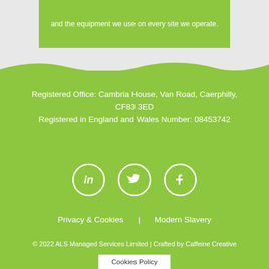and the equipment we use on every site we operate.
Registered Office: Cambria House, Van Road, Caerphilly, CF83 3ED
Registered in England and Wales Number: 08453742
[Figure (illustration): Three circular social media icons: LinkedIn, Twitter, Facebook — white outlines on green background]
Privacy & Cookies  |  Modern Slavery
© 2022 ALS Managed Services Limited | Crafted by Caffeine Creative
Cookies Policy